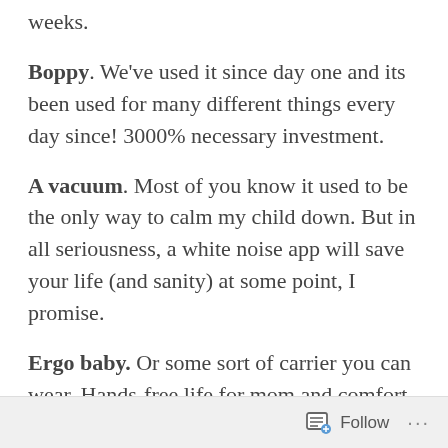weeks.
Boppy. We've used it since day one and its been used for many different things every day since! 3000% necessary investment.
A vacuum. Most of you know it used to be the only way to calm my child down. But in all seriousness, a white noise app will save your life (and sanity) at some point, I promise.
Ergo baby. Or some sort of carrier you can wear. Hands-free life for mom and comfort for the baby all in one. My only regret is not thinking of using it more often when she was smaller!
Follow ...